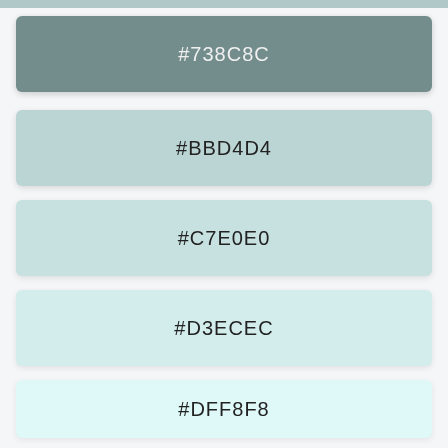[Figure (infographic): Color swatch #738C8C - dark muted teal]
#738C8C
[Figure (infographic): Color swatch #BBD4D4 - light muted teal]
#BBD4D4
[Figure (infographic): Color swatch #C7E0E0 - pale teal]
#C7E0E0
[Figure (infographic): Color swatch #D3ECEC - very pale teal]
#D3ECEC
[Figure (infographic): Color swatch #DFF8F8 - near-white teal]
#DFF8F8
[Figure (infographic): Color swatch #EBFFFF - almost white teal]
#EBFFFF